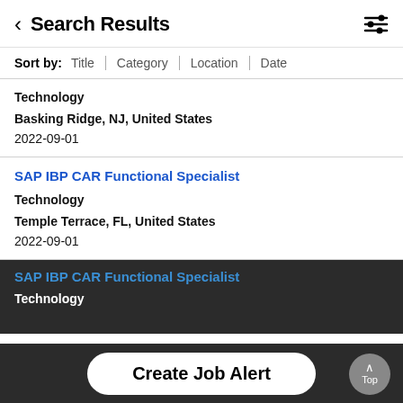< Search Results
Sort by: Title | Category | Location | Date
Technology
Basking Ridge, NJ, United States
2022-09-01
SAP IBP CAR Functional Specialist
Technology
Temple Terrace, FL, United States
2022-09-01
SAP IBP CAR Functional Specialist
Technology
Create Job Alert